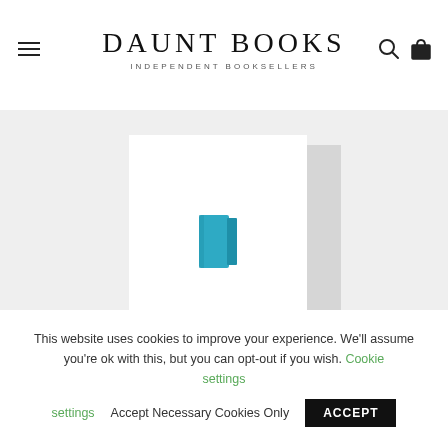DAUNT BOOKS — INDEPENDENT BOOKSELLERS
[Figure (illustration): Daunt Books website screenshot showing a book cover placeholder with a teal/cyan book icon on white background, set against a light grey product image area]
This website uses cookies to improve your experience. We'll assume you're ok with this, but you can opt-out if you wish. Cookie settings  Accept Necessary Cookies Only  ACCEPT